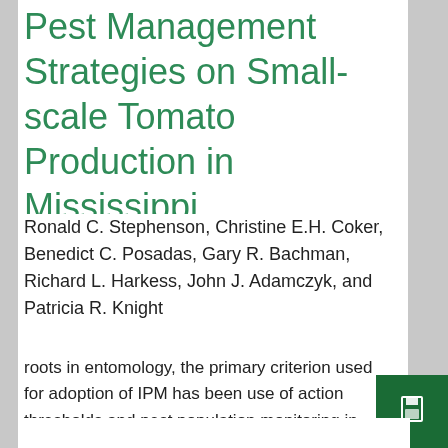Pest Management Strategies on Small-scale Tomato Production in Mississippi
Ronald C. Stephenson, Christine E.H. Coker, Benedict C. Posadas, Gary R. Bachman, Richard L. Harkess, John J. Adamczyk, and Patricia R. Knight
roots in entomology, the primary criterion used for adoption of IPM has been use of action thresholds and pest population monitoring in making decisions to apply pesticides ( Kogan, 1998 ). Organic vegetables represent an increasingly important segment